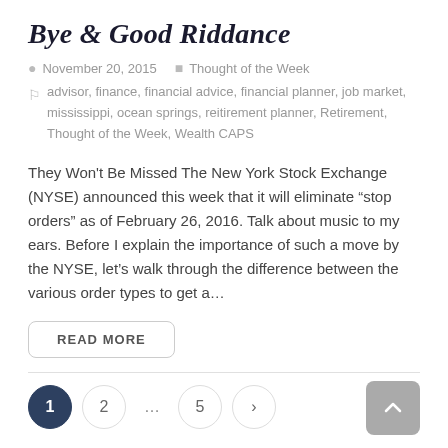Bye & Good Riddance
November 20, 2015   Thought of the Week
advisor, finance, financial advice, financial planner, job market, mississippi, ocean springs, reitirement planner, Retirement, Thought of the Week, Wealth CAPS
They Won't Be Missed The New York Stock Exchange (NYSE) announced this week that it will eliminate “stop orders” as of February 26, 2016. Talk about music to my ears. Before I explain the importance of such a move by the NYSE, let’s walk through the difference between the various order types to get a…
READ MORE
1  2  ...  5  >